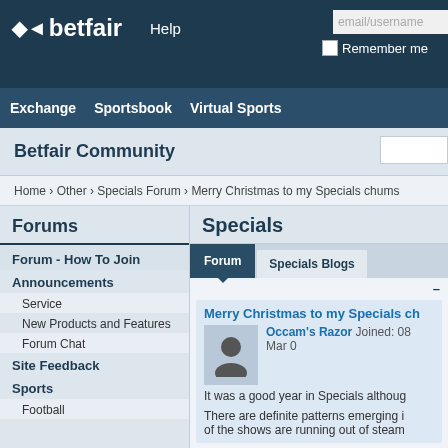betfair | Help | email/username | Remember me
Exchange  Sportsbook  Virtual Sports
Betfair Community
Home › Other › Specials Forum › Merry Christmas to my Specials chums
Forums
Forum - How To Join
Announcements
Service
New Products and Features
Forum Chat
Site Feedback
Sports
Football
Specials
Forum | Specials Blogs
Merry Christmas to my Specials ch...
Occam's Razor Joined: 08 Mar 0...
It was a good year in Specials althoug...
There are definite patterns emerging in... of the shows are running out of steam...